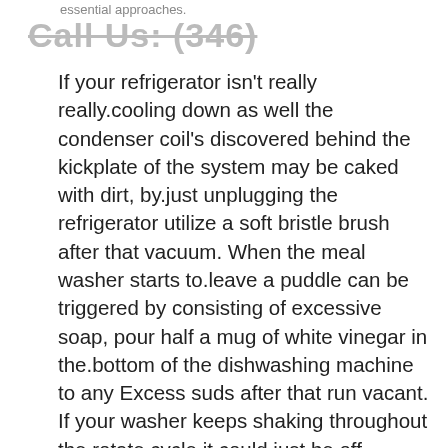essential approaches.
Call Us: (346)
If your refrigerator isn't really really.cooling down as well the condenser coil's discovered behind the kickplate of the system may be caked with dirt, by.just unplugging the refrigerator utilize a soft bristle brush after that vacuum. When the meal washer starts to.leave a puddle can be triggered by consisting of excessive soap, pour half a mug of white vinegar in the.bottom of the dishwashing machine to any Excess suds after that run vacant. If your washer keeps shaking throughout the.rotate cycle it could just be off-balance, put a complimentary 4th inch thick product of plywood under it and screw it.to the joints.The extremely finest part of all this though, is that we will never intend to up offer our customers by asserting an.device unfix-able merely for making even more loan. Listed below at Samsung Device Repairing